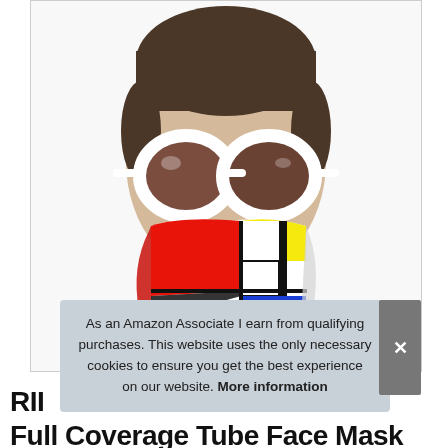[Figure (photo): Woman wearing large white-framed sunglasses and a colorful Mondrian-style tube face mask (red, yellow, white, black, blue geometric pattern). White background. Product photo for a face covering.]
As an Amazon Associate I earn from qualifying purchases. This website uses the only necessary cookies to ensure you get the best experience on our website. More information
RII
Full Coverage Tube Face Mask